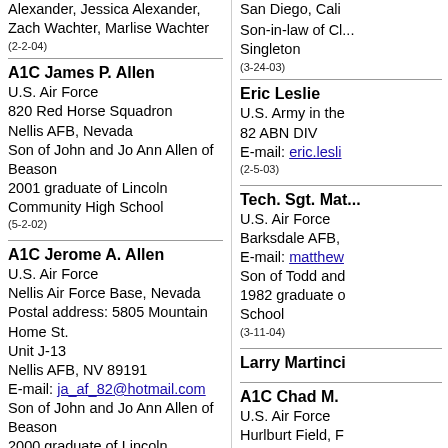Alexander, Jessica Alexander, Zach Wachter, Marlise Wachter
(2-2-04)
A1C James P. Allen
U.S. Air Force
820 Red Horse Squadron
Nellis AFB, Nevada
Son of John and Jo Ann Allen of Beason
2001 graduate of Lincoln Community High School
(5-2-02)
A1C Jerome A. Allen
U.S. Air Force
Nellis Air Force Base, Nevada
Postal address: 5805 Mountain Home St.
Unit J-13
Nellis AFB, NV 89191
E-mail: ja_af_82@hotmail.com
Son of John and Jo Ann Allen of Beason
2000 graduate of Lincoln Community High School
(4-3-02)
SST Kenneth Allen and wife Susan Elza Allen
San Diego, Cali...
Son-in-law of C... Singleton
(3-24-03)
Eric Leslie
U.S. Army in the...
82 ABN DIV
E-mail: eric.lesli...
(2-5-03)
Tech. Sgt. Mat...
U.S. Air Force
Barksdale AFB,...
E-mail: matthew...
Son of Todd and...
1982 graduate o...
School
(3-11-04)
Larry Martinci...
A1C Chad M. ...
U.S. Air Force
Hurlburt Field, F...
E-mail: spring_l...
Son of Mike and...